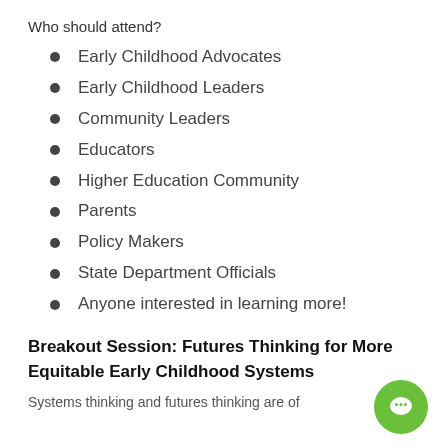Who should attend?
Early Childhood Advocates
Early Childhood Leaders
Community Leaders
Educators
Higher Education Community
Parents
Policy Makers
State Department Officials
Anyone interested in learning more!
Breakout Session: Futures Thinking for More Equitable Early Childhood Systems
Systems thinking and futures thinking are of